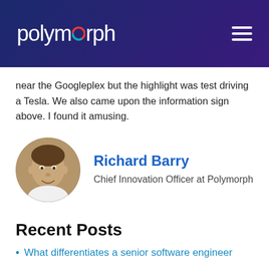polymorph
near the Googleplex but the highlight was test driving a Tesla. We also came upon the information sign above. I found it amusing.
[Figure (photo): Circular profile photo of Richard Barry, a man with short brown hair wearing a white shirt, smiling outdoors.]
Richard Barry
Chief Innovation Officer at Polymorph
Recent Posts
What differentiates a senior software engineer